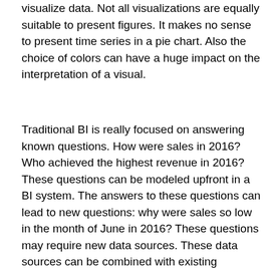visualize data. Not all visualizations are equally suitable to present figures. It makes no sense to present time series in a pie chart. Also the choice of colors can have a huge impact on the interpretation of a visual.
Traditional BI is really focused on answering known questions. How were sales in 2016? Who achieved the highest revenue in 2016? These questions can be modeled upfront in a BI system. The answers to these questions can lead to new questions: why were sales so low in the month of June in 2016? These questions may require new data sources. These data sources can be combined with existing (modeled) data sources. A combination of data sources might yield different insights. This is the process of data discovery. Adding data about the weather or adding information about visitors to a city or